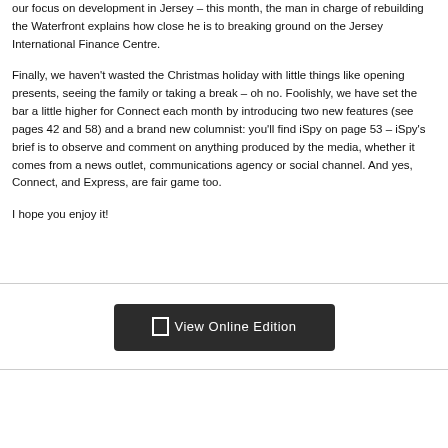our focus on development in Jersey – this month, the man in charge of rebuilding the Waterfront explains how close he is to breaking ground on the Jersey International Finance Centre.
Finally, we haven't wasted the Christmas holiday with little things like opening presents, seeing the family or taking a break – oh no. Foolishly, we have set the bar a little higher for Connect each month by introducing two new features (see pages 42 and 58) and a brand new columnist: you'll find iSpy on page 53 – iSpy's brief is to observe and comment on anything produced by the media, whether it comes from a news outlet, communications agency or social channel. And yes, Connect, and Express, are fair game too.
I hope you enjoy it!
View Online Edition